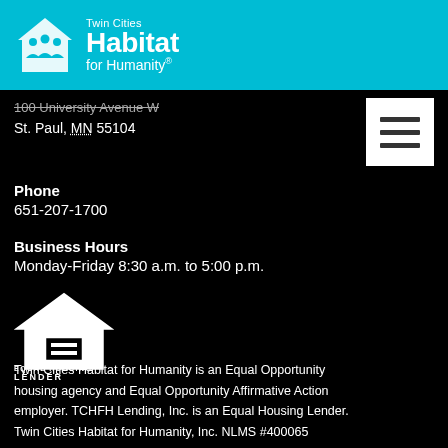[Figure (logo): Twin Cities Habitat for Humanity logo with icon and text on cyan/teal header bar]
100 University Avenue W
St. Paul, MN 55104
Phone
651-207-1700
Business Hours
Monday-Friday 8:30 a.m. to 5:00 p.m.
[Figure (logo): Equal Housing Lender logo - house with equals sign and text EQUAL HOUSING LENDER]
Twin Cities Habitat for Humanity is an Equal Opportunity housing agency and Equal Opportunity Affirmative Action employer. TCHFH Lending, Inc. is an Equal Housing Lender. Twin Cities Habitat for Humanity, Inc. NLMS #400065 TCHFH Lending, Inc. NLMS #1482482